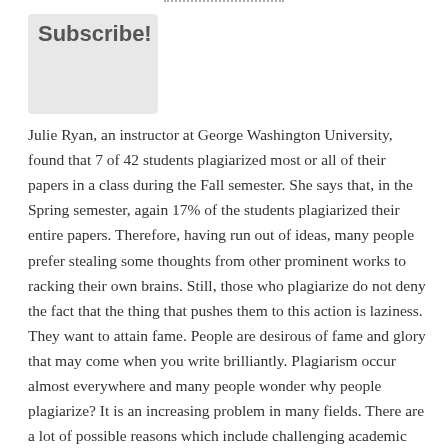Subscribe!
Julie Ryan, an instructor at George Washington University, found that 7 of 42 students plagiarized most or all of their papers in a class during the Fall semester. She says that, in the Spring semester, again 17% of the students plagiarized their entire papers. Therefore, having run out of ideas, many people prefer stealing some thoughts from other prominent works to racking their own brains. Still, those who plagiarize do not deny the fact that the thing that pushes them to this action is laziness. They want to attain fame. People are desirous of fame and glory that may come when you write brilliantly. Plagiarism occur almost everywhere and many people wonder why people plagiarize? It is an increasing problem in many fields. There are a lot of possible reasons which include challenging academic standards. In addition, there is an increased ease of access to content and this is the result of the arrival of new technology such as the internet.